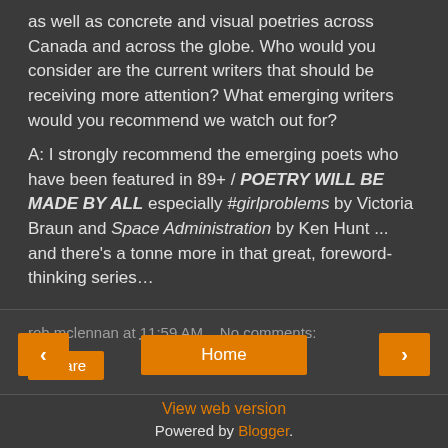as well as concrete and visual poetries across Canada and across the globe. Who would you consider are the current writers that should be receiving more attention? What emerging writers would you recommend we watch out for?
A: I strongly recommend the emerging poets who have been featured in 89+ / POETRY WILL BE MADE BY ALL especially #girlproblems by Victoria Braun and Space Administration by Ken Hunt ... and there's a tonne more in that great, foreword-thinking series…
rob mclennan at 11:59 AM   No comments:
Share
‹
Home
›
View web version
Powered by Blogger.